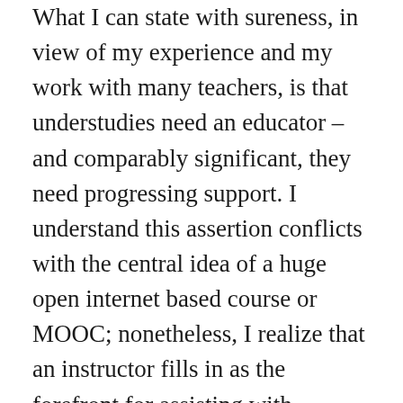What I can state with sureness, in view of my experience and my work with many teachers, is that understudies need an educator – and comparably significant, they need progressing support. I understand this assertion conflicts with the central idea of a huge open internet based course or MOOC; nonetheless, I realize that an instructor fills in as the forefront for assisting with carrying out maintenance systems set up by the school and having the option to work with understudies to assist them with enduring or succeed. This is the place where the key to understudy achievement can be found and it is inside the relationship that is set up with understudies. A teacher is in a situation to foster a relationship with understudies since they are working with